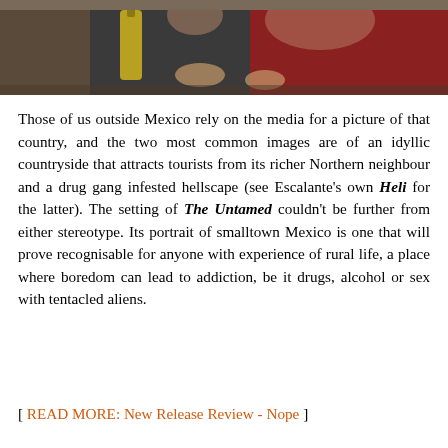[Figure (photo): Two people sitting together in a dimly lit room; one in a dark top on the left, one in a red sleeveless top on the right, a bottle visible in the background.]
Those of us outside Mexico rely on the media for a picture of that country, and the two most common images are of an idyllic countryside that attracts tourists from its richer Northern neighbour and a drug gang infested hellscape (see Escalante's own Heli for the latter). The setting of The Untamed couldn't be further from either stereotype. Its portrait of smalltown Mexico is one that will prove recognisable for anyone with experience of rural life, a place where boredom can lead to addiction, be it drugs, alcohol or sex with tentacled aliens.
[ READ MORE: New Release Review - Nope ]